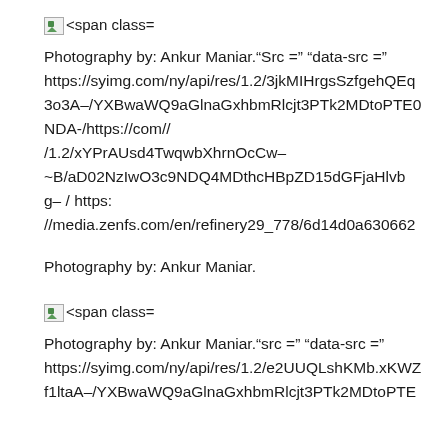[Figure (other): Broken image icon followed by text '<span class=']
Photography by: Ankur Maniar.“Src =” “data-src =” https://syimg.com/ny/api/res/1.2/3jkMIHrgsSzfgehQEq3o3A–/YXBwaWQ9aGlnaGxhbRlcjt3PTk2MDtoPTE0NDA-/https://com// /1.2/xYPrAUsd4TwqwbXhrnOcCw–~B/aD02NzIwO3c9NDQ4MDthcHBpZD15dGFjaHlvbg– / https: //media.zenfs.com/en/refinery29_778/6d14d0a630662
Photography by: Ankur Maniar.
[Figure (other): Broken image icon followed by text '<span class=']
Photography by: Ankur Maniar.“src =” “data-src =” https://syimg.com/ny/api/res/1.2/e2UUQLshKMb.xKWZf1ltaA–/YXBwaWQ9aGlnaGxhbRlcjt3PTk2MDtoPTE